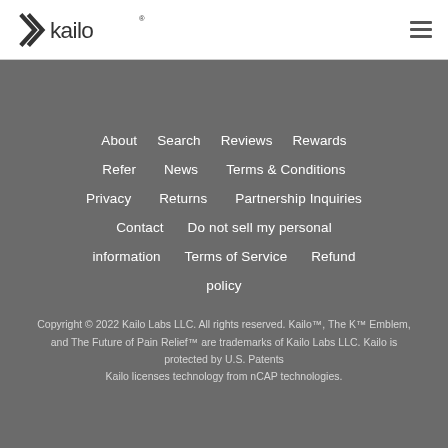Kailo logo and navigation menu
About
Search
Reviews
Rewards
Refer
News
Terms & Conditions
Privacy
Returns
Partnership Inquiries
Contact
Do not sell my personal information
Terms of Service
Refund policy
Copyright © 2022 Kailo Labs LLC. All rights reserved. Kailo™, The K™ Emblem, and The Future of Pain Relief™ are trademarks of Kailo Labs LLC. Kailo is protected by U.S. Patents
Kailo licenses technology from nCAP technologies.